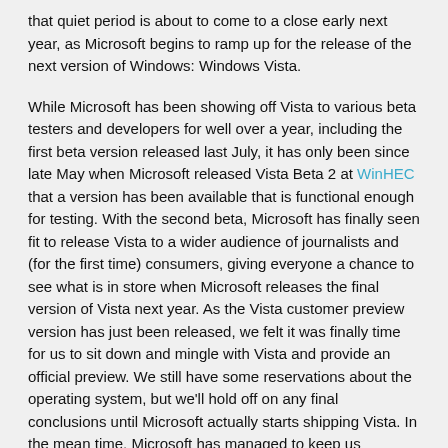that quiet period is about to come to a close early next year, as Microsoft begins to ramp up for the release of the next version of Windows: Windows Vista.
While Microsoft has been showing off Vista to various beta testers and developers for well over a year, including the first beta version released last July, it has only been since late May when Microsoft released Vista Beta 2 at WinHEC that a version has been available that is functional enough for testing. With the second beta, Microsoft has finally seen fit to release Vista to a wider audience of journalists and (for the first time) consumers, giving everyone a chance to see what is in store when Microsoft releases the final version of Vista next year. As the Vista customer preview version has just been released, we felt it was finally time for us to sit down and mingle with Vista and provide an official preview. We still have some reservations about the operating system, but we'll hold off on any final conclusions until Microsoft actually starts shipping Vista. In the mean time, Microsoft has managed to keep us intrigued with details of their OS that will replace the venerable XP.
For some time now, Microsoft has been in an interesting position of